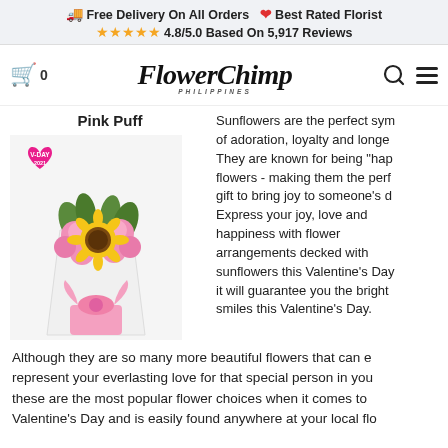🚚 Free Delivery On All Orders ❤️ Best Rated Florist ⭐⭐⭐⭐⭐ 4.8/5.0 Based On 5,917 Reviews
[Figure (logo): Flower Chimp Philippines logo with cart icon (0), search icon, and menu icon in navigation bar]
Pink Puff
[Figure (photo): Pink Puff flower bouquet with sunflower surrounded by pink carnations wrapped in white and pink packaging, with V-DAY 2021 heart badge]
Sunflowers are the perfect symbol of adoration, loyalty and longevity. They are known for being "happy" flowers - making them the perfect gift to bring joy to someone's day. Express your joy, love and happiness with flower arrangements decked with sunflowers this Valentine's Day, it will guarantee you the brightest smiles this Valentine's Day.
Although they are so many more beautiful flowers that can express and represent your everlasting love for that special person in your life, these are the most popular flower choices when it comes to Valentine's Day and is easily found anywhere at your local flo...